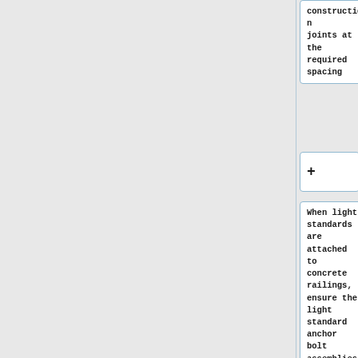construction joints at the required spacing
+
When light standards are attached to concrete railings, ensure the light standard anchor bolt assemblies and foundation reinforcement cage are properly attached to